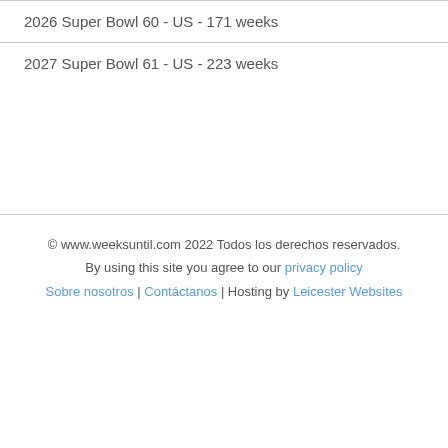2026 Super Bowl 60 - US - 171 weeks
2027 Super Bowl 61 - US - 223 weeks
© www.weeksuntil.com 2022 Todos los derechos reservados. By using this site you agree to our privacy policy Sobre nosotros | Contáctanos | Hosting by Leicester Websites